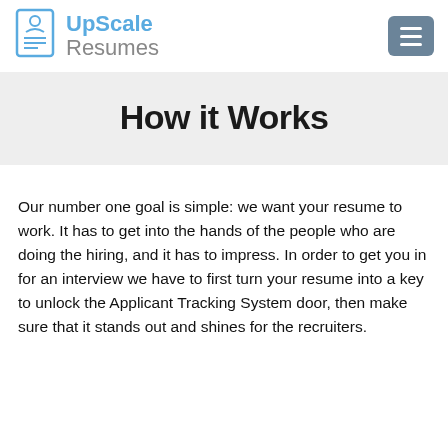UpScale Resumes
How it Works
Our number one goal is simple: we want your resume to work. It has to get into the hands of the people who are doing the hiring, and it has to impress. In order to get you in for an interview we have to first turn your resume into a key to unlock the Applicant Tracking System door, then make sure that it stands out and shines for the recruiters.